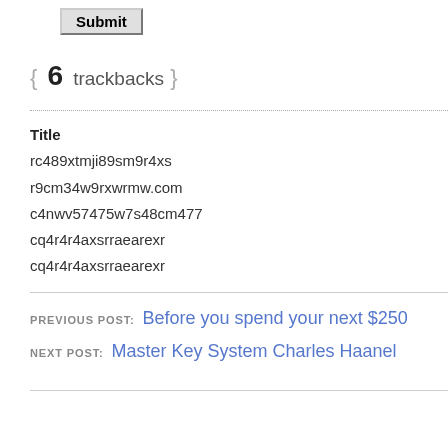[Figure (other): Submit button (form UI element)]
{ 6 trackbacks }
Title
rc489xtmji89sm9r4xs
r9cm34w9rxwrmw.com
c4nwv57475w7s48cm477
cq4r4r4axsrraearexr
cq4r4r4axsrraearexr
PREVIOUS POST: Before you spend your next $250
NEXT POST: Master Key System Charles Haanel